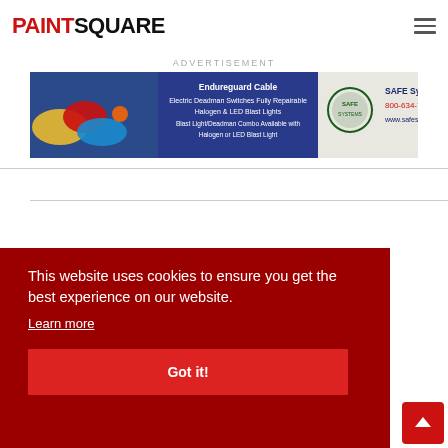PAINTSQUARE
ADVERTISEMENT
[Figure (screenshot): SAFE Systems Inc. advertisement banner showing cables and Endureguard Cable products with phone 800-634-7278 and website www.safesys.com]
Sign in to our community to add your comments.
Main News Page
This website uses cookies to ensure you get the best experience on our website. Learn more Got it!